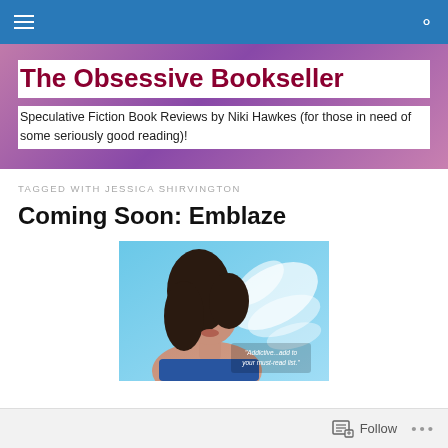Navigation bar with menu and search icons
The Obsessive Bookseller
Speculative Fiction Book Reviews by Niki Hawkes (for those in need of some seriously good reading)!
TAGGED WITH JESSICA SHIRVINGTON
Coming Soon: Emblaze
[Figure (photo): Book cover for Emblaze showing a woman with dark hair and a quote reading 'Addictive...add to your must-read list.']
Follow ...